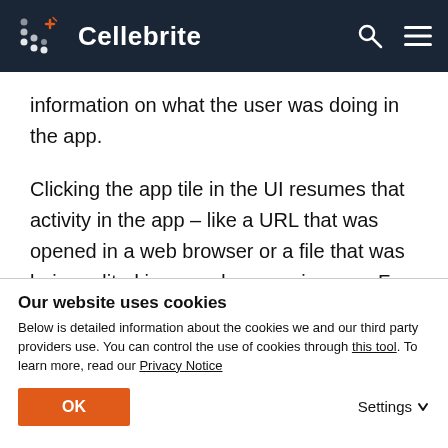Cellebrite
information on what the user was doing in the app.
Clicking the app tile in the UI resumes that activity in the app – like a URL that was opened in a web browser or a file that was being edited in a word processing app. For those who haven't seen it, it looks like this:
Our website uses cookies
Below is detailed information about the cookies we and our third party providers use. You can control the use of cookies through this tool. To learn more, read our Privacy Notice
OK
Settings